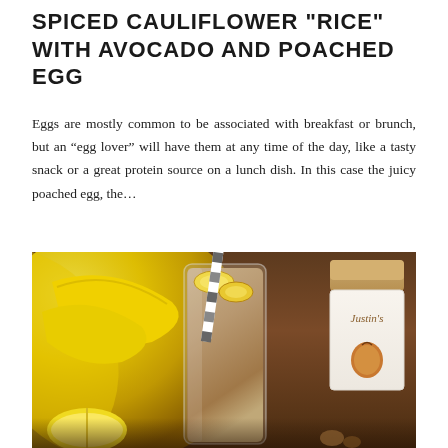SPICED CAULIFLOWER "RICE" WITH AVOCADO AND POACHED EGG
Eggs are mostly common to be associated with breakfast or brunch, but an “egg lover” will have them at any time of the day, like a tasty snack or a great protein source on a lunch dish. In this case the juicy poached egg, the…
[Figure (photo): A banana peanut butter smoothie in a clear glass with a black-and-white striped straw and banana slices on top, surrounded by bananas and a Justin’s nut butter jar on a dark wooden surface.]